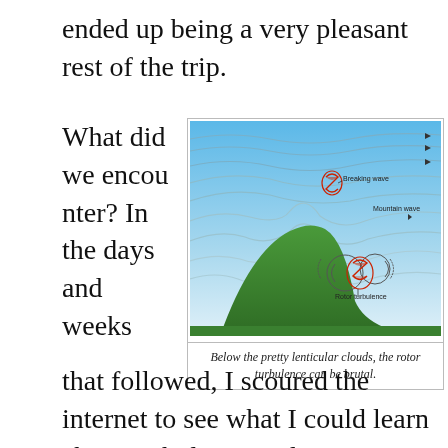ended up being a very pleasant rest of the trip.
What did we encounter? In the days and weeks
[Figure (illustration): Diagram showing mountain wave turbulence with wind flow lines over a mountain peak. Labels indicate 'Breaking wave' near top, 'Mountain wave' on the right, and 'Rotor turbulence' below. Swirling red and white rotor icons are shown below the wave crests, and a green mountain shape is at lower left. Background transitions from white at bottom to light blue at top.]
Below the pretty lenticular clouds, the rotor turbulence can be brutal.
that followed, I scoured the internet to see what I could learn about turbulence and its causes. I spoke with every pilot I knew to see